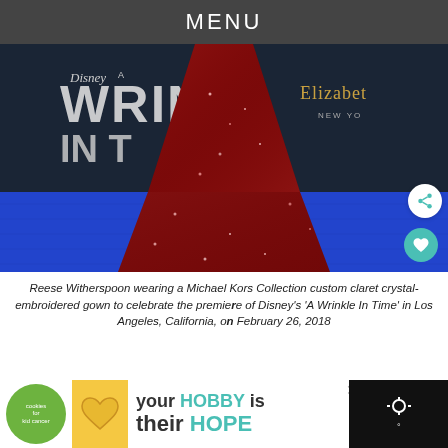MENU
[Figure (photo): Reese Witherspoon in a red crystal-embroidered gown on a blue carpet at a Disney 'A Wrinkle In Time' premiere backdrop]
Reese Witherspoon wearing a Michael Kors Collection custom claret crystal-embroidered gown to celebrate the premiere of Disney's 'A Wrinkle In Time' in Los Angeles, California, on February 26, 2018
[Figure (infographic): Advertisement banner: 'your HOBBY is their HOPE' with cookies for kids cancer logo]